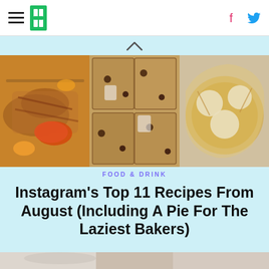HuffPost navigation with hamburger menu, logo, Facebook and Twitter icons
[Figure (photo): Three-panel food collage: grilled chicken with peaches and dipping sauce (left), chocolate chip blondies/cookie bars (center), peach galette with cream cheese (right)]
FOOD & DRINK
Instagram’s Top 11 Recipes From August (Including A Pie For The Laziest Bakers)
[Figure (photo): Partial view of a person at a laptop, bottom of page]